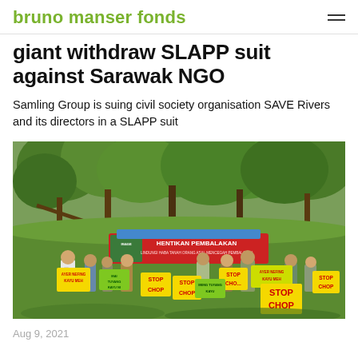bruno manser fonds
giant withdraw SLAPP suit against Sarawak NGO
Samling Group is suing civil society organisation SAVE Rivers and its directors in a SLAPP suit
[Figure (photo): Group of activists standing outdoors in a forested area holding yellow and green protest signs reading 'STOP CHOP', 'AYER NEFING KAYU MEH', 'MAI TUYANG KAYU NI', and a red banner reading 'HENTIKAN PEMBALAKAN'. People are wearing face masks.]
Aug 9, 2021